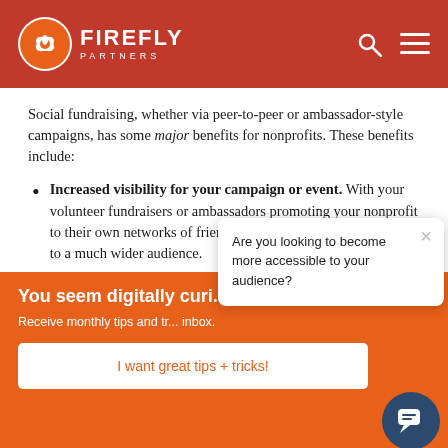Firefly Partners
Social fundraising, whether via peer-to-peer or ambassador-style campaigns, has some major benefits for nonprofits. These benefits include:
Increased visibility for your campaign or event. With your volunteer fundraisers or ambassadors promoting your nonprofit to their own networks of friends and family, you get exposure to a much wider audience.
You seem digitally curi...
Receive monthly tips and tr... inbox.
I want great tips + tricks!
Are you looking to become more accessible to your audience?